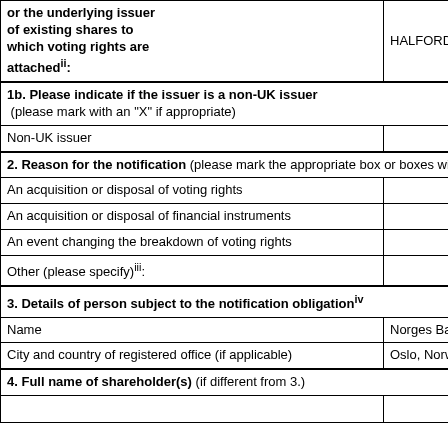| or the underlying issuer of existing shares to which voting rights are attachedⁿ: | HALFORDS GROUP plc |
| 1b. Please indicate if the issuer is a non-UK issuer (please mark with an "X" if appropriate) |  |
| Non-UK issuer |  |
| 2. Reason for the notification (please mark the appropriate box or boxes with an "X") |  |
| An acquisition or disposal of voting rights | X |
| An acquisition or disposal of financial instruments |  |
| An event changing the breakdown of voting rights |  |
| Other (please specify)ⁱⁱⁱ: |  |
| 3. Details of person subject to the notification obligationⁱv |  |
| Name | Norges Bank |
| City and country of registered office (if applicable) | Oslo, Norway |
| 4. Full name of shareholder(s) (if different from 3.) |  |